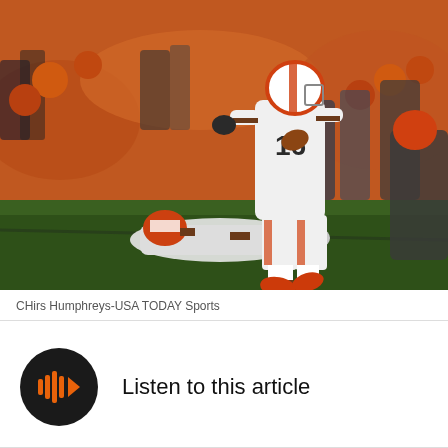[Figure (photo): NFL football player wearing Cleveland Browns white uniform number 16, running with the ball during a game, with players on the ground and orange-clad crowd in the background]
CHirs Humphreys-USA TODAY Sports
Listen to this article